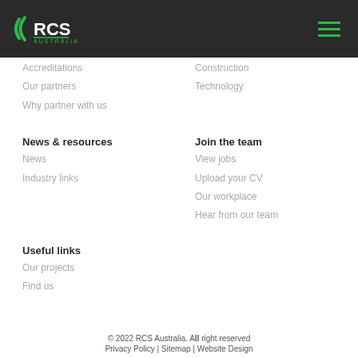[Figure (logo): RCS Australia logo with green arc shapes on dark background header]
Accreditations
Our partners
Why partner with us
Construction
Technology
News & resources
News
Industry links
Join the team
View jobs
Upload your CV
Our workplace
Hear from our team
Useful links
Our projects
Find us
© 2022 RCS Australia. All right reserved
Privacy Policy | Sitemap | Website Design